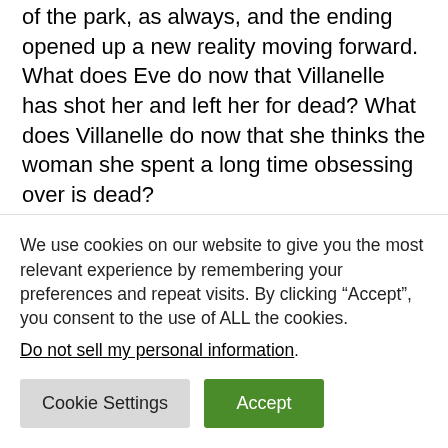of the park, as always, and the ending opened up a new reality moving forward. What does Eve do now that Villanelle has shot her and left her for dead? What does Villanelle do now that she thinks the woman she spent a long time obsessing over is dead?
Thankfully, at least judging by this trailer, Villanelle won't think Eve is dead for long. Then we can get back to the totally unhealthy but irresistibly compelling dynamic that makes this show so good. I can't wait to see what new
We use cookies on our website to give you the most relevant experience by remembering your preferences and repeat visits. By clicking “Accept”, you consent to the use of ALL the cookies.
Do not sell my personal information.